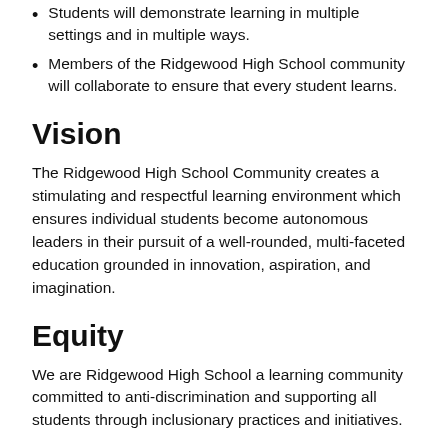Students will demonstrate learning in multiple settings and in multiple ways.
Members of the Ridgewood High School community will collaborate to ensure that every student learns.
Vision
The Ridgewood High School Community creates a stimulating and respectful learning environment which ensures individual students become autonomous leaders in their pursuit of a well-rounded, multi-faceted education grounded in innovation, aspiration, and imagination.
Equity
We are Ridgewood High School a learning community committed to anti-discrimination and supporting all students through inclusionary practices and initiatives.